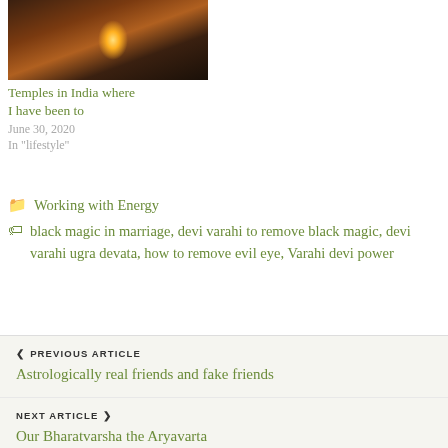[Figure (photo): Dark mystical image with a glowing candle or lamp light in a red/dark brown atmospheric setting]
Temples in India where I have been to
June 30, 2020
In "lifestyle"
📂 Working with Energy
🏷 black magic in marriage, devi varahi to remove black magic, devi varahi ugra devata, how to remove evil eye, Varahi devi power
❮ PREVIOUS ARTICLE
Astrologically real friends and fake friends
NEXT ARTICLE ❯
Our Bharatvarsha the Aryavarta